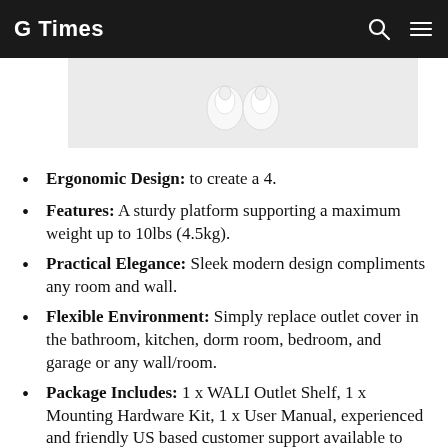G Times
[Figure (photo): Partial product image showing white wireless earbuds/AirPods-style earbuds against a light gray background]
Ergonomic Design: to create a 4.
Features: A sturdy platform supporting a maximum weight up to 10lbs (4.5kg).
Practical Elegance: Sleek modern design compliments any room and wall.
Flexible Environment: Simply replace outlet cover in the bathroom, kitchen, dorm room, bedroom, and garage or any wall/room.
Package Includes: 1 x WALI Outlet Shelf, 1 x Mounting Hardware Kit, 1 x User Manual, experienced and friendly US based customer support available to